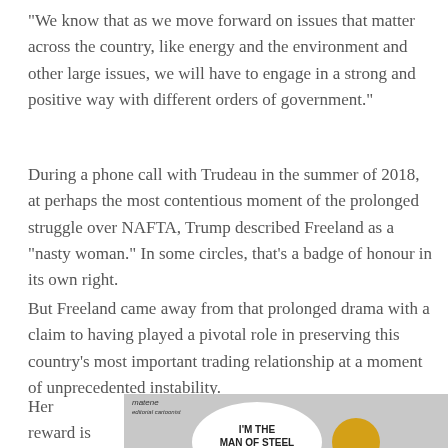“We know that as we move forward on issues that matter across the country, like energy and the environment and other large issues, we will have to engage in a strong and positive way with different orders of government.”
During a phone call with Trudeau in the summer of 2018, at perhaps the most contentious moment of the prolonged struggle over NAFTA, Trump described Freeland as a “nasty woman.” In some circles, that’s a badge of honour in its own right.
But Freeland came away from that prolonged drama with a claim to having played a pivotal role in preserving this country’s most important trading relationship at a moment of unprecedented instability.
Her reward is
[Figure (illustration): Political cartoon showing a speech bubble/circle saying 'I'M THE MAN OF STEEL TARIFFS! I'M THE' with a gold coin on the right, on a grey background. Watermark text visible at top left.]